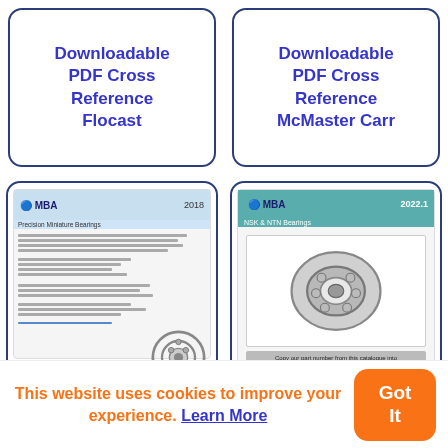[Figure (screenshot): Card with text: Downloadable PDF Cross Reference Flocast (blue text on white card with dark blue border)]
[Figure (screenshot): Card with text: Downloadable PDF Cross Reference McMaster Carr (blue text on white card with dark blue border)]
[Figure (screenshot): MBA 2018 Precision Miniature Bearings catalog preview with bearing image, and label: Downloadable PDF Cross... (lower card)]
[Figure (screenshot): MBA 2022.1 NSK & NTN Bearings catalog preview with bearing image (lower card)]
This website uses cookies to improve your experience. Learn More
Got It